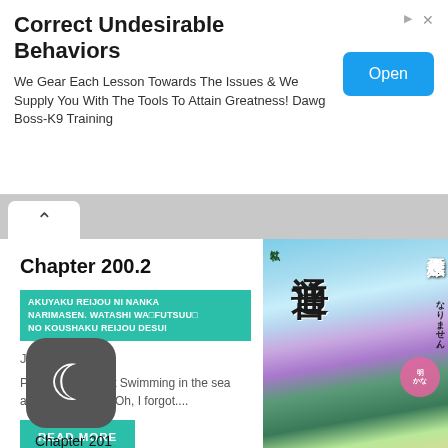Correct Undesirable Behaviors
We Gear Each Lesson Towards The Issues & We Supply You With The Tools To Attain Greatness! Dawg Boss-K9 Training
Open
Chapter 200.2
AKUYAKU REIJOU NI NANKA NARIMASEN. WATASHI WA□FUTSUU□ NO KOUSHAKU REIJOU DESU!
July 15, 2022
PreviousTOCNext Swimming in the sea and magic tools. "Oh, I forgot....
READ MORE
[Figure (illustration): Manga volume cover art featuring anime-style characters with Japanese text]
Chapter 201